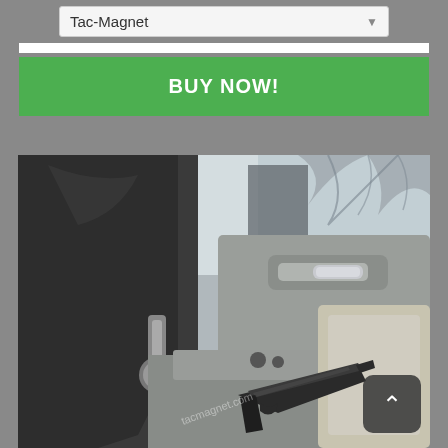Tac-Magnet
BUY NOW!
[Figure (photo): Interior of an SUV showing the center console and front seat area. A black handgun (pistol) is resting on the center console/seat area. A magnetic mount is visible attached to the back of the driver or front passenger seat headrest post. The vehicle has beige/cream leather interior. Trees are visible outside the windows.]